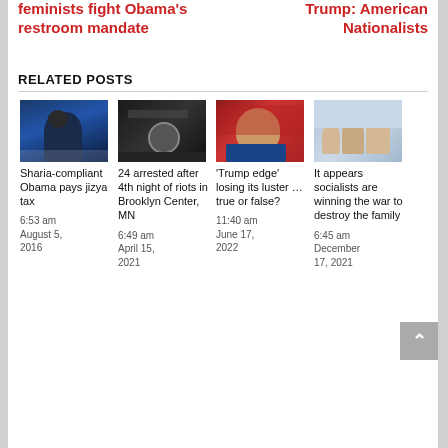feminists fight Obama's restroom mandate
Trump: American Nationalists
RELATED POSTS
[Figure (photo): Photo of Obama at podium]
Sharia-compliant Obama pays jizya tax
6:53 am August 5, 2016
[Figure (photo): Dark photo related to riots]
24 arrested after 4th night of riots in Brooklyn Center, MN
6:49 am April 15, 2021
[Figure (photo): Photo of Trump at rally]
'Trump edge' losing its luster … true or false?
11:40 am June 17, 2022
[Figure (photo): Photo of family]
It appears socialists are winning the war to destroy the family
6:45 am December 17, 2021